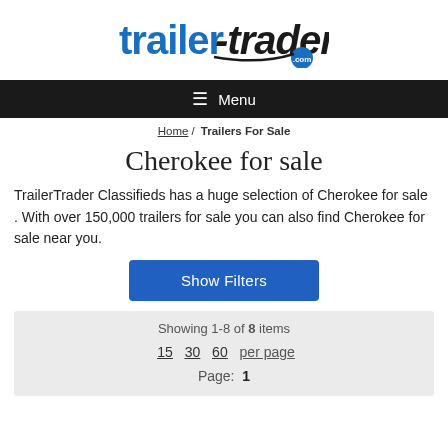[Figure (logo): trailer-traders.com logo with blue and black stylized text]
≡ Menu
Home / Trailers For Sale
Cherokee for sale
TrailerTrader Classifieds has a huge selection of Cherokee for sale . With over 150,000 trailers for sale you can also find Cherokee for sale near you.
Show Filters
Showing 1-8 of 8 items
15  30  60  per page
Page: 1